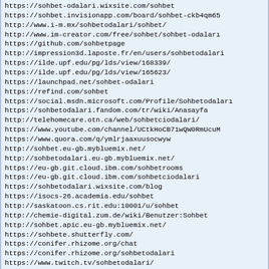&#8203;https://sohbet-odalari.wixsite.com/sohbet
&#8203;https://sohbet.invisionapp.com/board/sohbet-ckb4qm65
&#8203;http://www.i-m.mx/sohbetodalari/sohbet/
&#8203;http://www.im-creator.com/free/sohbet/sohbet-odalari
&#8203;https://github.com/sohbetpage
&#8203;http://impression3d.laposte.fr/en/users/sohbetodalari
&#8203;https://ilde.upf.edu/pg/lds/view/168339/
&#8203;https://ilde.upf.edu/pg/lds/view/165623/
https://launchpad.net/sohbet-odalari
&#8203;https://refind.com/sohbet
https://social.msdn.microsoft.com/Profile/Sohbetodalar&#305;
&#8203;https://sohbetodalari.fandom.com/tr/wiki/Anasayfa
&#8203;http://telehomecare.otn.ca/web/sohbetciodalari/
&#8203;https://www.youtube.com/channel/UCtkHoCB71wQW0RmUcuM
&#8203;https://www.quora.com/q/ymlrjaaxuusocwyw
&#8203;http://sohbet.eu-gb.mybluemix.net/
http://sohbetodalari.eu-gb.mybluemix.net/
https://eu-gb.git.cloud.ibm.com/sohbetrooms
&#8203;https://eu-gb.git.cloud.ibm.com/sohbetciodalari
&#8203;https://sohbetodalari.wixsite.com/blog
&#8203;https://isocs-26.academia.edu/sohbet
http://saskatoon.cs.rit.edu:10001/u/sohbet
&#8203;http://chemie-digital.zum.de/wiki/Benutzer:Sohbet
&#8203;http://sohbet.apic.eu-gb.mybluemix.net/
&#8203;https://sohbete.shutterfly.com/
&#8203;https://conifer.rhizome.org/chat
&#8203;https://conifer.rhizome.org/sohbetodalari
https://www.twitch.tv/sohbetodalari/
https://tapas.io/sohbet